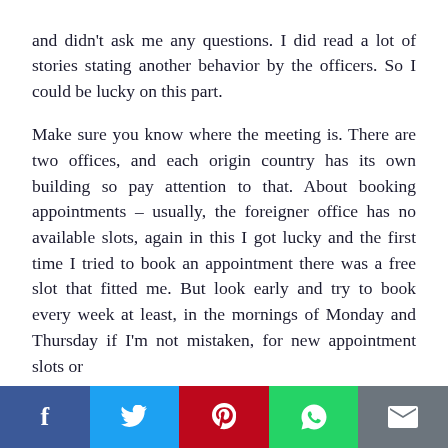and didn't ask me any questions. I did read a lot of stories stating another behavior by the officers. So I could be lucky on this part.

Make sure you know where the meeting is. There are two offices, and each origin country has its own building so pay attention to that. About booking appointments – usually, the foreigner office has no available slots, again in this I got lucky and the first time I tried to book an appointment there was a free slot that fitted me. But look early and try to book every week at least, in the mornings of Monday and Thursday if I'm not mistaken, for new appointment slots or
f  [twitter]  p  [whatsapp]  [email]